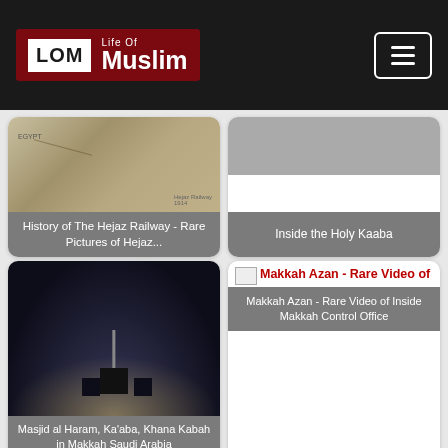Life Of Muslim — LOM logo and navigation header
[Figure (screenshot): Card: History of The Hejaz Railway - Rare Pictures of Hejaz... with map background image]
History of The Hejaz Railway - Rare Pictures of Hejaz...
[Figure (screenshot): Card: Inside the Holy Kaaba with grey background]
Inside the Holy Kaaba
[Figure (photo): Card: Masjid al Haram, Ka'aba, Khana Kabah in Makkah Saudi Arabia — night aerial photo]
Masjid al Haram, Ka'aba, Khana Kabah in Makkah Saudi Arabia
[Figure (screenshot): Card: Makkah Azan - Rare Video of Makkah Azan - Rare Video of Inside Makkah Control Office]
Makkah Azan - Rare Video of Inside Makkah Control Office
[Figure (screenshot): Card: Amitabh Bachan Recites Holy Quran for Satisfaction]
Amitabh Bachan Recites Holy Quran for Satisfaction
[Figure (illustration): Card: Miracle of The 2 Rivers mentioned in — sticky note with pin illustration]
Miracle of The 2 Rivers mentioned in